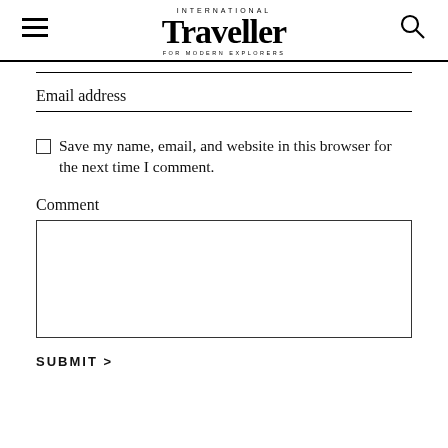INTERNATIONAL Traveller FOR MODERN EXPLORERS
Email address
Save my name, email, and website in this browser for the next time I comment.
Comment
SUBMIT >